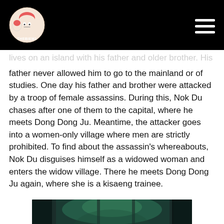THEBIEM1
lives on an island with his father and older brother. His father never allowed him to go to the mainland or of studies. One day his father and brother were attacked by a troop of female assassins. During this, Nok Du chases after one of them to the capital, where he meets Dong Dong Ju. Meantime, the attacker goes into a women-only village where men are strictly prohibited. To find about the assassin's whereabouts, Nok Du disguises himself as a widowed woman and enters the widow village. There he meets Dong Dong Ju again, where she is a kisaeng trainee.
[Figure (photo): Dark corridor scene from a Korean drama showing figures in dim lighting with green ambient glow from above]